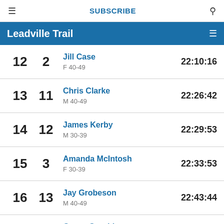≡  SUBSCRIBE  🔍
Leadville Trail  ≡
| Rank | Num | Name / Category | Time |
| --- | --- | --- | --- |
| 12 | 2 | Jill Case / F 40-49 | 22:10:16 |
| 13 | 11 | Chris Clarke / M 40-49 | 22:26:42 |
| 14 | 12 | James Kerby / M 30-39 | 22:29:53 |
| 15 | 3 | Amanda McIntosh / F 30-39 | 22:33:53 |
| 16 | 13 | Jay Grobeson / M 40-49 | 22:43:44 |
| 17 | 14 | Garett Graubins / M 20-29 | 22:45:22 |